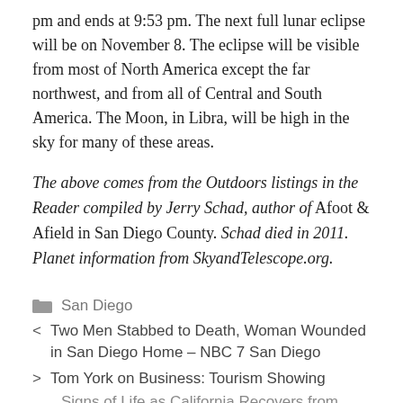pm and ends at 9:53 pm. The next full lunar eclipse will be on November 8. The eclipse will be visible from most of North America except the far northwest, and from all of Central and South America. The Moon, in Libra, will be high in the sky for many of these areas.
The above comes from the Outdoors listings in the Reader compiled by Jerry Schad, author of Afoot & Afield in San Diego County. Schad died in 2011. Planet information from SkyandTelescope.org.
San Diego
< Two Men Stabbed to Death, Woman Wounded in San Diego Home – NBC 7 San Diego
> Tom York on Business: Tourism Showing
Signs of Life as California Recovers from COVID